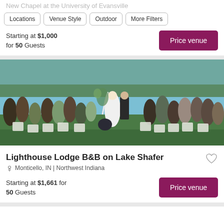New Chapel at the University of Evansville
Locations | Venue Style | Outdoor | More Filters
Starting at $1,000 for 50 Guests
[Figure (photo): Outdoor lakeside wedding ceremony with bride and groom standing at the altar, guests seated on white chairs on a grass lawn, lake and trees visible in the background]
Lighthouse Lodge B&B on Lake Shafer
Monticello, IN | Northwest Indiana
Starting at $1,661 for 50 Guests